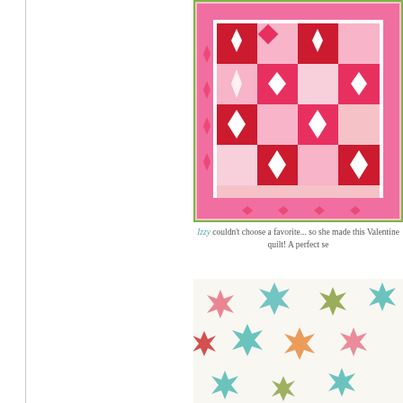[Figure (photo): A pink and red Valentine quilt with geometric patchwork pattern showing squares, diamonds and star blocks in red, pink, and white fabrics with a pink border and green binding.]
Izzy couldn't choose a favorite... so she made this Valentine quilt! A perfect se...
[Figure (photo): A white quilt with colorful eight-pointed stars in pink, teal, green, orange, and other pastel colors arranged in a grid pattern on a light background.]